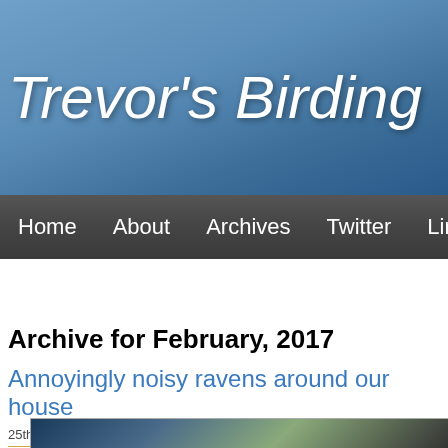Trevor's Birding
Home   About   Archives   Twitter   Links
Archive for February, 2017
Annoyingly noisy ravens around our house
25th February, 2017; Category: Bird Behaviour, Ravens and Crows
[Figure (photo): Partial photo of a bird, likely a raven, partially visible at bottom of page]